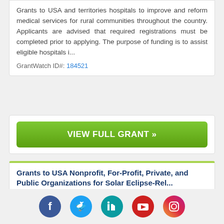Grants to USA and territories hospitals to improve and reform medical services for rural communities throughout the country. Applicants are advised that required registrations must be completed prior to applying. The purpose of funding is to assist eligible hospitals i...
GrantWatch ID#: 184521
VIEW FULL GRANT »
Grants to USA Nonprofit, For-Profit, Private, and Public Organizations for Solar Eclipse-Rel...
Deadline 11/08/22   LOI Date: 09/09/22
Grants to USA nonprofit, for-profit, private, and public organizations for research projects related to the upcoming solar eclipse. Applicants must submit a preliminary proposal
[Figure (infographic): Social media icons: Facebook (blue), Twitter (light blue), LinkedIn (teal), YouTube (red), Instagram (pink/purple)]